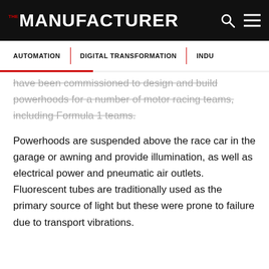THE MANUFACTURER
AUTOMATION | DIGITAL TRANSFORMATION | INDU...
have been commissioned to design and build powerhoods for a number of motor racing teams, including Formula 1 teams.
Powerhoods are suspended above the race car in the garage or awning and provide illumination, as well as electrical power and pneumatic air outlets. Fluorescent tubes are traditionally used as the primary source of light but these were prone to failure due to transport vibrations.